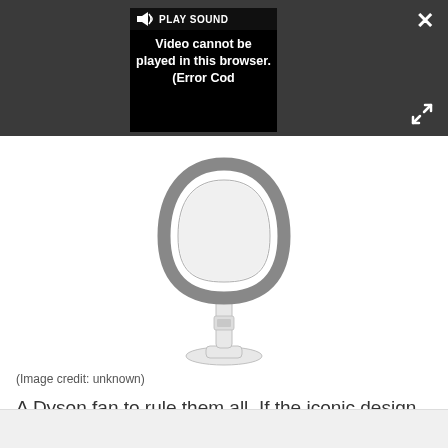[Figure (screenshot): A dark grey video player bar at the top with a black video error box showing 'PLAY SOUND Video cannot be played in this browser. (Error Cod' with a speaker icon, close X button top right, and expand icon]
[Figure (photo): Dyson AM07 bladeless tower fan, white and silver, on a white background]
(Image credit: unknown)
A Dyson fan to rule them all. If the iconic design of the Cool AM07 isn't enough to tempt you, then consider